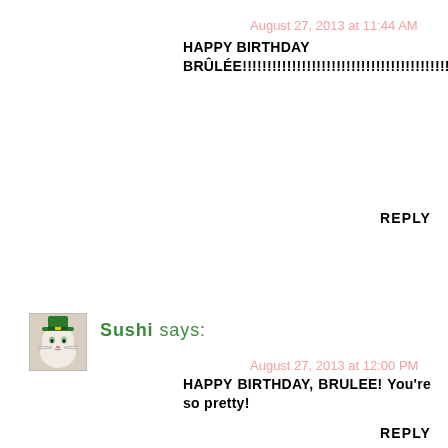August 27, 2013 at 11:44 AM
HAPPY BIRTHDAY BRÛLÉE!!!!!!!!!!!!!!!!!!!!!!!!!!!!!!!!!!!!!!!!!!!!!!!!!!!!!!!!!!!!!!!!!!!!!!!
REPLY
[Figure (photo): Avatar image of a white cat wearing a green leprechaun hat]
Sushi says:
August 27, 2013 at 12:00 PM
HAPPY BIRTHDAY, BRULEE! You're so pretty!
REPLY